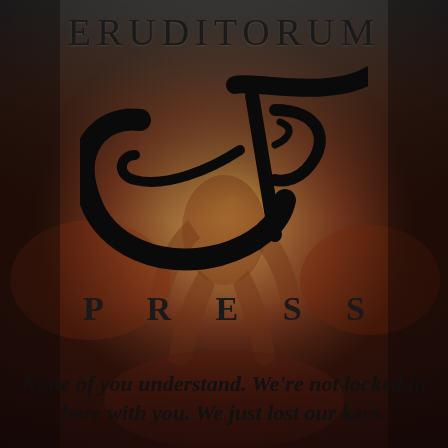ERUDITORUM
[Figure (logo): Eruditorum Press logo: stylized calligraphic 'EP' monogram in black over a background painting of a crouched human figure in earthy red/brown tones with a glowing circular form]
PRESS
None of you understand. We're not locked in here with you. We just lost our keys.